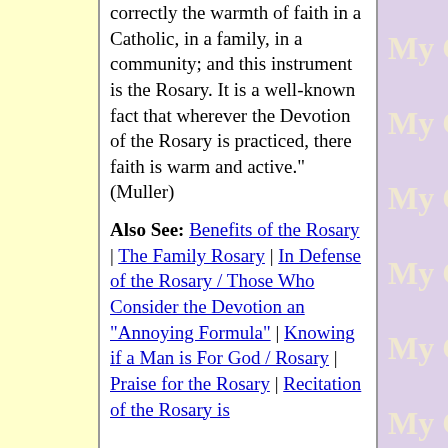correctly the warmth of faith in a Catholic, in a family, in a community; and this instrument is the Rosary. It is a well-known fact that wherever the Devotion of the Rosary is practiced, there faith is warm and active." (Muller)
Also See: Benefits of the Rosary | The Family Rosary | In Defense of the Rosary / Those Who Consider the Devotion an "Annoying Formula" | Knowing if a Man is For God / Rosary | Praise for the Rosary | Recitation of the Rosary is
My Catho My Catho My Catho My Catho My Catho My Catho